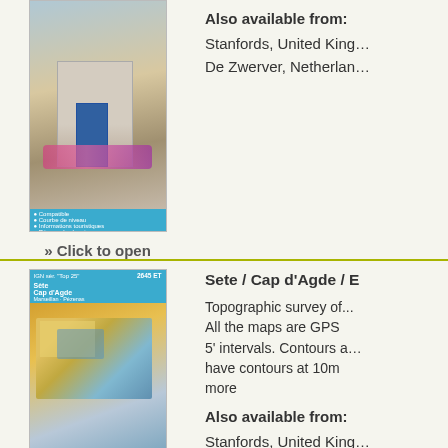[Figure (illustration): IGN map cover for Pézenas area, blue cover with photo of stone building with blue door and flowers]
» Click to open
Also available from:
Stanfords, United Kingdom
De Zwerver, Netherlands
[Figure (illustration): IGN map cover 2645 ET for Sete / Cap d'Agde area, blue cover with aerial photo of coastal town]
Sete / Cap d'Agde / E
Topographic survey of... All the maps are GPS ... 5' intervals. Contours a... have contours at 10m ... more
» Click to open
Also available from:
Stanfords, United Kingdom
De Zwerver, Netherlands